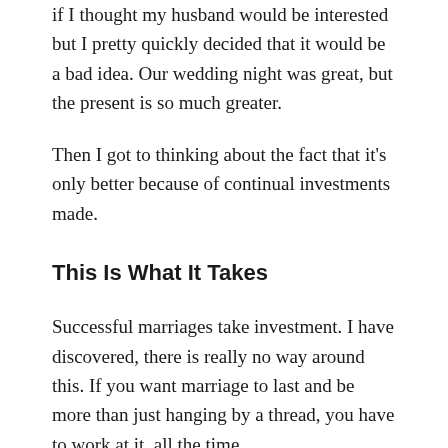if I thought my husband would be interested but I pretty quickly decided that it would be a bad idea. Our wedding night was great, but the present is so much greater.
Then I got to thinking about the fact that it's only better because of continual investments made.
This Is What It Takes
Successful marriages take investment. I have discovered, there is really no way around this. If you want marriage to last and be more than just hanging by a thread, you have to work at it, all the time.
I'm glad I have somebody who is committed to working on it with me, and sometimes more than me. I'll admit that. Sometimes he